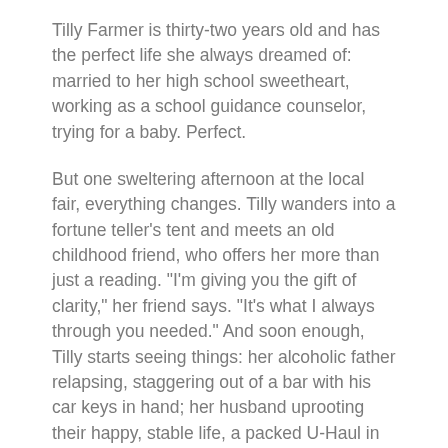Tilly Farmer is thirty-two years old and has the perfect life she always dreamed of: married to her high school sweetheart, working as a school guidance counselor, trying for a baby. Perfect.
But one sweltering afternoon at the local fair, everything changes. Tilly wanders into a fortune teller's tent and meets an old childhood friend, who offers her more than just a reading. "I'm giving you the gift of clarity," her friend says. "It's what I always through you needed." And soon enough, Tilly starts seeing things: her alcoholic father relapsing, staggering out of a bar with his car keys in hand; her husband uprooting their happy, stable life, a packed U-Haul in their driveway. And even more disturbing, these visions start coming true. Suddenly Tilly's perfect life, so meticulously mapped out, seems to be crumbling around her. And as she furiously races to keep up with - and hopefully change - her destiny, she faces the question: Which life does she want? The one she's carefully nursed for